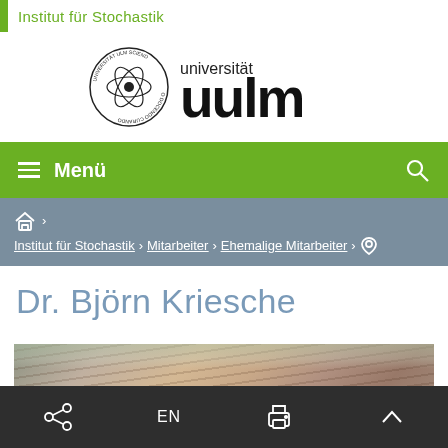Institut für Stochastik
[Figure (logo): Universität Ulm logo with atom symbol and text 'universität ulm']
Menü
Institut für Stochastik › Mitarbeiter › Ehemalige Mitarbeiter › ⊙
Dr. Björn Kriesche
[Figure (photo): Partial photo of building with terracotta roof tiles and blossoming tree branches]
Share | EN | Print | Up